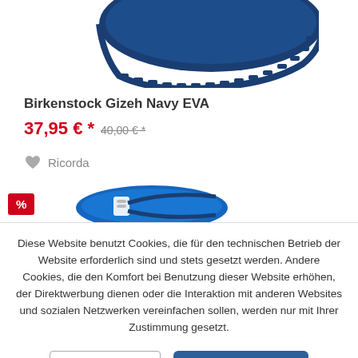[Figure (photo): Close-up of bottom sole of a navy blue Birkenstock Gizeh EVA sandal, showing ridged sole detail]
Birkenstock Gizeh Navy EVA
37,95 € * 40,00 € *
♥ Ricorda
[Figure (photo): Bright blue sandal with white buckle, showing a red % discount badge in the corner]
Diese Website benutzt Cookies, die für den technischen Betrieb der Website erforderlich sind und stets gesetzt werden. Andere Cookies, die den Komfort bei Benutzung dieser Website erhöhen, der Direktwerbung dienen oder die Interaktion mit anderen Websites und sozialen Netzwerken vereinfachen sollen, werden nur mit Ihrer Zustimmung gesetzt.
Ablehnen
Konfigurieren